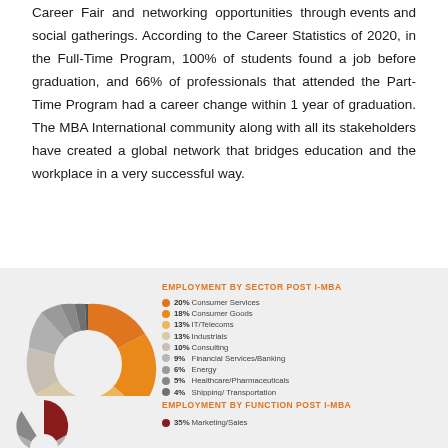Career Fair and networking opportunities through events and social gatherings. According to the Career Statistics of 2020, in the Full-Time Program, 100% of students found a job before graduation, and 66% of professionals that attended the Part-Time Program had a career change within 1 year of graduation. The MBA International community along with all its stakeholders have created a global network that bridges education and the workplace in a very successful way.
[Figure (donut-chart): EMPLOYMENT BY SECTOR POST i-MBA]
[Figure (donut-chart): EMPLOYMENT BY FUNCTION POST i-MBA]